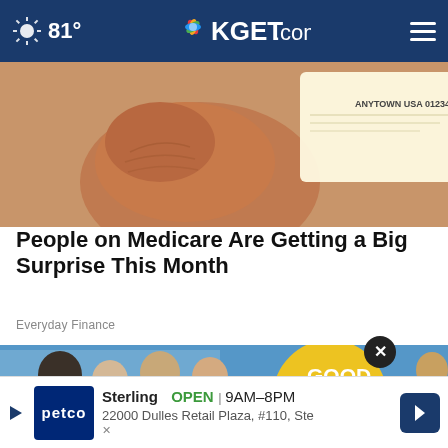81° KGET.com
[Figure (photo): Close-up of a finger holding a document card with text ANYTOWN USA visible]
People on Medicare Are Getting a Big Surprise This Month
Everyday Finance
[Figure (photo): Group of women on TV show set with Good Morning America logo visible]
[Figure (infographic): Advertisement bar for Petco store Sterling, OPEN 9AM-8PM, 22000 Dulles Retail Plaza, #110, Ste]